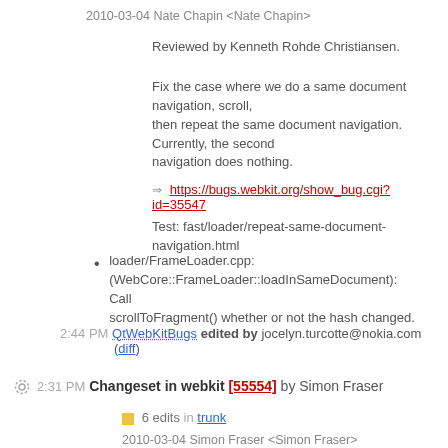2010-03-04 Nate Chapin <Nate Chapin>
Reviewed by Kenneth Rohde Christiansen.
Fix the case where we do a same document navigation, scroll,
then repeat the same document navigation. Currently, the second
navigation does nothing.
=> https://bugs.webkit.org/show_bug.cgi?id=35547
Test: fast/loader/repeat-same-document-navigation.html
loader/FrameLoader.cpp: (WebCore::FrameLoader::loadInSameDocument): Call scrollToFragment() whether or not the hash changed.
2:44 PM QtWebKitBugs edited by jocelyn.turcotte@nokia.com (diff)
2:31 PM Changeset in webkit [55554] by Simon Fraser
6 edits in trunk
2010-03-04 Simon Fraser <Simon Fraser>
Build fix.
const long long cMaxDistance = numeric_limits<long long>::max() created global